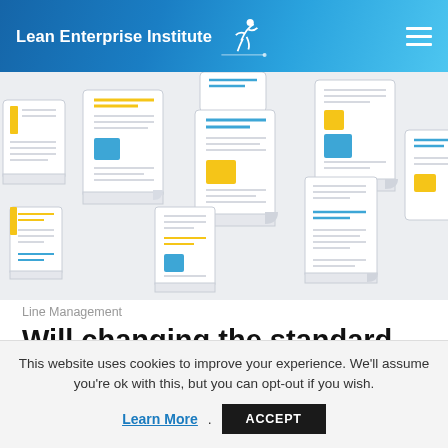Lean Enterprise Institute
[Figure (illustration): Pattern of illustrated document/report icons with yellow and blue colored elements on a light gray background]
Line Management
Will changing the standard for supervisors'
This website uses cookies to improve your experience. We'll assume you're ok with this, but you can opt-out if you wish.
Learn More. ACCEPT